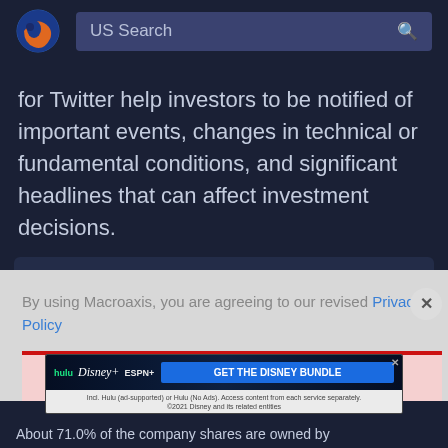[Figure (logo): Macroaxis logo: orange and blue globe icon]
US Search
for Twitter help investors to be notified of important events, changes in technical or fundamental conditions, and significant headlines that can affect investment decisions.
Twitter Alerts
By using Macroaxis, you are agreeing to our revised Privacy Policy
[Figure (screenshot): Disney bundle advertisement banner: Hulu, Disney+, ESPN+, GET THE DISNEY BUNDLE. Incl. Hulu (ad-supported) or Hulu (No Ads). Access content from each service separately. ©2021 Disney and its related entities]
About 71.0% of the company shares are owned by